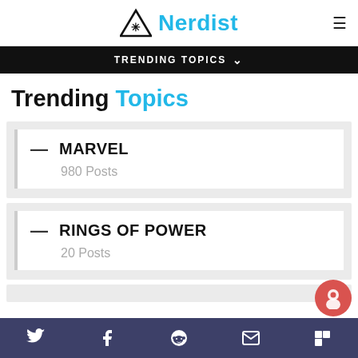Nerdist
TRENDING TOPICS
Trending Topics
MARVEL — 980 Posts
RINGS OF POWER — 20 Posts
Twitter, Facebook, Reddit, Email, Flipboard